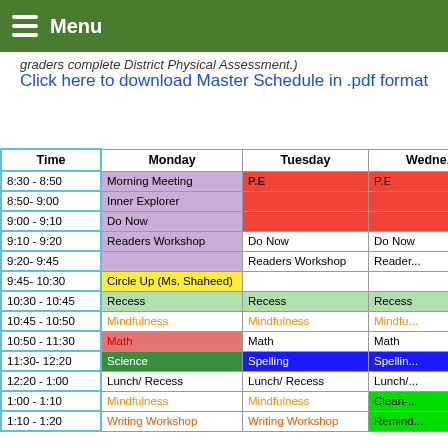Menu
graders complete District Physical Assessment.)
Click here to download Master Schedule in .pdf format
| Time | Monday | Tuesday | Wedne... |
| --- | --- | --- | --- |
| 8:30 - 8:50 | Morning Meeting | P.E | P.E |
| 8:50- 9:00 | Inner Explorer |  |  |
| 9:00 - 9:10 | Do Now |  |  |
| 9:10 - 9:20 | Readers Workshop | Do Now | Do Now |
| 9:20- 9:45 |  | Readers Workshop | Readers... |
| 9:45- 10:30 | Circle Up (Ms. Shaheed) |  |  |
| 10:30 - 10:45 | Recess | Recess | Recess |
| 10:45 - 10:50 | Mindfulness | Mindfulness | Mindfu... |
| 10:50 - 11:30 | Math | Math | Math |
| 11:30- 12:20 | Science | Spelling | Spellin... |
| 12:20 - 1:00 | Lunch/ Recess | Lunch/ Recess | Lunch/... |
| 1:00 - 1:10 | Mindfulness | Mindfulness | Clean-... |
| 1:10 - 1:20 | Writing Workshop | Writing Workshop | Remind... |